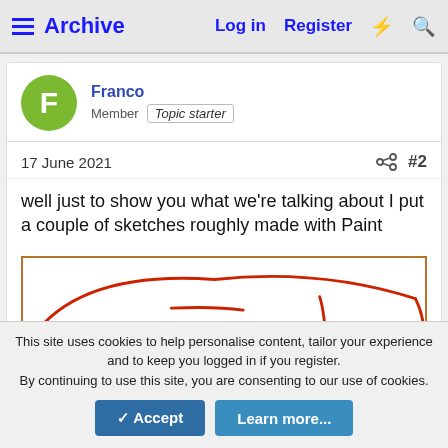Archive  Log in  Register
Franco
Member  Topic starter
17 June 2021  #2
well just to show you what we're talking about I put a couple of sketches roughly made with Paint
[Figure (illustration): A rough hand-drawn style sketch made with MS Paint showing red curved lines on a white background, partially visible, depicting what appears to be a curved shape outline.]
This site uses cookies to help personalise content, tailor your experience and to keep you logged in if you register.
By continuing to use this site, you are consenting to our use of cookies.
✓ Accept  Learn more...